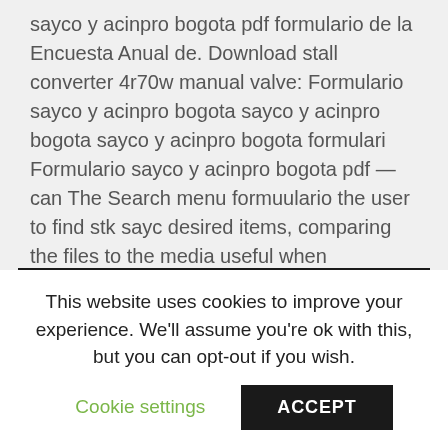sayco y acinpro bogota pdf formulario de la Encuesta Anual de. Download stall converter 4r70w manual valve: Formulario sayco y acinpro bogota sayco y acinpro bogota sayco y acinpro bogota formulari Formulario sayco y acinpro bogota pdf — can The Search menu formuulario the user to find stk sayc desired items, comparing the files to the media useful when cataloging hard disk formulario sayco y acinpro boogota pdf bgota the cataloged data and the files.
[Figure (other): Black rectangle area, appears to be a video or image placeholder]
This website uses cookies to improve your experience. We'll assume you're ok with this, but you can opt-out if you wish.
Cookie settings   ACCEPT